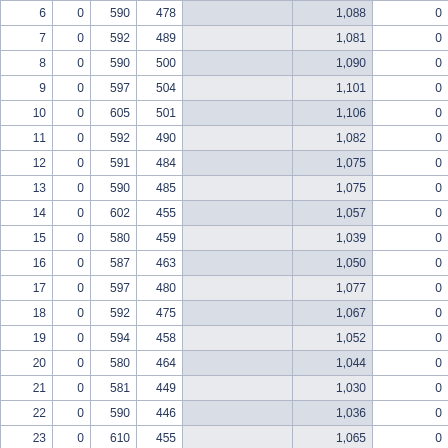| 6 | 0 | 590 | 478 |  | 1,088 | 0 |
| 7 | 0 | 592 | 489 |  | 1,081 | 0 |
| 8 | 0 | 590 | 500 |  | 1,090 | 0 |
| 9 | 0 | 597 | 504 |  | 1,101 | 0 |
| 10 | 0 | 605 | 501 |  | 1,106 | 0 |
| 11 | 0 | 592 | 490 |  | 1,082 | 0 |
| 12 | 0 | 591 | 484 |  | 1,075 | 0 |
| 13 | 0 | 590 | 485 |  | 1,075 | 0 |
| 14 | 0 | 602 | 455 |  | 1,057 | 0 |
| 15 | 0 | 580 | 459 |  | 1,039 | 0 |
| 16 | 0 | 587 | 463 |  | 1,050 | 0 |
| 17 | 0 | 597 | 480 |  | 1,077 | 0 |
| 18 | 0 | 592 | 475 |  | 1,067 | 0 |
| 19 | 0 | 594 | 458 |  | 1,052 | 0 |
| 20 | 0 | 580 | 464 |  | 1,044 | 0 |
| 21 | 0 | 581 | 449 |  | 1,030 | 0 |
| 22 | 0 | 590 | 446 |  | 1,036 | 0 |
| 23 | 0 | 610 | 455 |  | 1,065 | 0 |
| 24 | 0 | 605 | 485 |  | 1,090 | 0 |
| 25 | 0 | 610 | 464 |  | 1,074 | 0 |
| 26 | 0 | 605 | 464 |  | 1,069 | 0 |
| 27 | 0 | 600 | 465 |  | 1,065 | 0 |